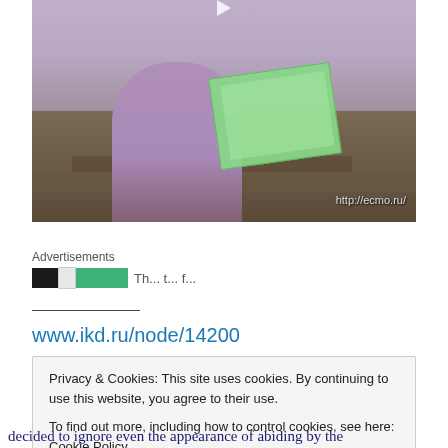[Figure (photo): Woman in purple t-shirt holding a green paper/book, standing in front of stacked logs. URL watermark 'http://ecmo.ru/' visible in bottom right.]
Advertisements
Th... t... f...
www.ikd.ru/node/14200
Privacy & Cookies: This site uses cookies. By continuing to use this website, you agree to their use.
To find out more, including how to control cookies, see here: Cookie Policy
Close and accept
decided to ignore even the appearance of abiding by the